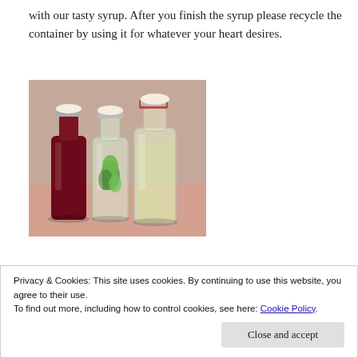with our tasty syrup. After you finish the syrup please recycle the container by using it for whatever your heart desires.
[Figure (photo): Three glass swing-top bottles containing different colored syrups: a dark red/berry syrup on the left, a clear bottle with fresh green mint leaves in the middle, and a clear pale yellow/lemon syrup on the right. The bottles have white ceramic stoppers.]
Privacy & Cookies: This site uses cookies. By continuing to use this website, you agree to their use.
To find out more, including how to control cookies, see here: Cookie Policy
Close and accept